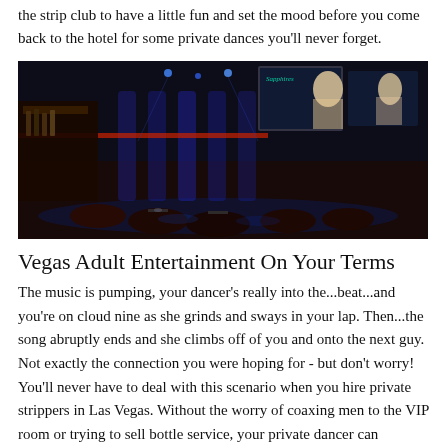the strip club to have a little fun and set the mood before you come back to the hotel for some private dances you'll never forget.
[Figure (photo): Interior of a nightclub/strip club with blue and purple lighting, large screens displaying performer images, dark seating areas, and a bar visible on the left.]
Vegas Adult Entertainment On Your Terms
The music is pumping, your dancer's really into the...beat...and you're on cloud nine as she grinds and sways in your lap. Then...the song abruptly ends and she climbs off of you and onto the next guy. Not exactly the connection you were hoping for - but don't worry! You'll never have to deal with this scenario when you hire private strippers in Las Vegas. Without the worry of coaxing men to the VIP room or trying to sell bottle service, your private dancer can concentrate on satisfying your fantasy all night long! You can even choose the music you love or ask your dancer to